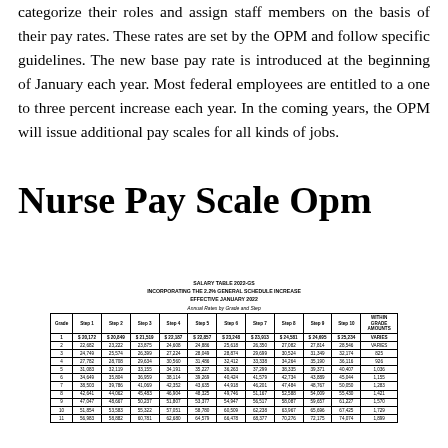categorize their roles and assign staff members on the basis of their pay rates. These rates are set by the OPM and follow specific guidelines. The new base pay rate is introduced at the beginning of January each year. Most federal employees are entitled to a one to three percent increase each year. In the coming years, the OPM will issue additional pay scales for all kinds of jobs.
Nurse Pay Scale Opm
SALARY TABLE 2022-GS
INCORPORATING THE 2.2% GENERAL SCHEDULE INCREASE
EFFECTIVE JANUARY 2022
Annual Rates by Grade and Step
| Grade | Step 1 | Step 2 | Step 3 | Step 4 | Step 5 | Step 6 | Step 7 | Step 8 | Step 9 | Step 10 | WITHIN GRADE AMOUNTS |
| --- | --- | --- | --- | --- | --- | --- | --- | --- | --- | --- | --- |
| 1 | $ 20,172 | $ 20,849 | $ 21,519 | $ 22,187 | $ 22,857 | $ 23,248 | $ 23,913 | $ 24,581 | $ 24,695 | $ 25,234 | VARIES |
| 2 | 22,682 | 23,222 | 23,875 | 24,608 | 24,886 | 25,618 | 26,350 | 27,082 | 27,814 | 28,546 | VARIES |
| 3 | 24,749 | 25,574 | 26,399 | 27,224 | 28,049 | 28,874 | 29,699 | 30,524 | 31,349 | 32,174 | 825 |
| 4 | 27,782 | 28,708 | 29,634 | 30,560 | 31,486 | 32,412 | 33,338 | 34,264 | 35,190 | 36,116 | 926 |
| 5 | 31,083 | 32,119 | 33,155 | 34,191 | 35,227 | 36,263 | 37,299 | 38,335 | 39,371 | 40,407 | 1,036 |
| 6 | 34,649 | 35,804 | 36,959 | 38,114 | 39,269 | 40,424 | 41,579 | 42,734 | 43,889 | 45,044 | 1,155 |
| 7 | 38,503 | 39,786 | 41,069 | 42,352 | 43,635 | 44,918 | 46,201 | 47,484 | 48,767 | 50,050 | 1,283 |
| 8 | 42,641 | 44,062 | 45,483 | 46,904 | 48,325 | 49,746 | 51,167 | 52,588 | 54,009 | 55,430 | 1,421 |
| 9 | 47,047 | 48,667 | 50,237 | 51,807 | 53,377 | 54,947 | 56,517 | 58,087 | 59,657 | 61,227 | 1,570 |
| 10 | 51,854 | 53,583 | 55,322 | 57,051 | 58,780 | 60,509 | 62,238 | 63,967 | 65,696 | 67,425 | 1,729 |
| 11 | 56,983 | 58,882 | 60,781 | 62,680 | 64,579 | 66,478 | 68,377 | 70,276 | 72,175 | 74,074 | 1,899 |